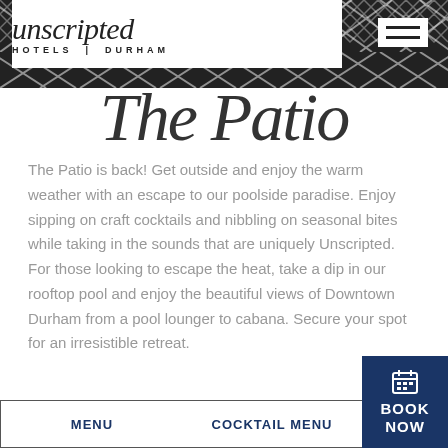[Figure (illustration): Black and white zigzag/chevron geometric pattern header band]
unscripted HOTELS | DURHAM
[Figure (illustration): Black and white zigzag/chevron geometric pattern band below nav]
The Patio
The Patio is back! Get outside and enjoy the warm weather with an escape to our poolside paradise. Enjoy sipping on craft cocktails and nibbling on seasonal bites while taking in the sounds that are uniquely Unscripted. For those looking to escape the heat, take a dip in our rooftop pool and enjoy the beautiful views of Downtown Durham from a pool lounger to cabana. Secure your spot for an irresistible retreat.
MENU
COCKTAIL MENU